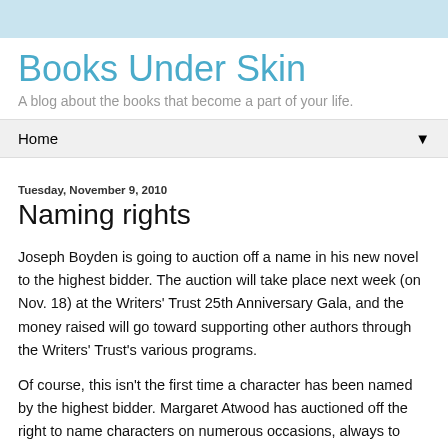Books Under Skin
A blog about the books that become a part of your life.
Home
Tuesday, November 9, 2010
Naming rights
Joseph Boyden is going to auction off a name in his new novel to the highest bidder. The auction will take place next week (on Nov. 18) at the Writers' Trust 25th Anniversary Gala, and the money raised will go toward supporting other authors through the Writers' Trust's various programs.
Of course, this isn't the first time a character has been named by the highest bidder. Margaret Atwood has auctioned off the right to name characters on numerous occasions, always to benefit charity. In most cases these characters are fairly minor, but the name Amanda Payne, which first appeared in her novel Oryx and Crake and then again in The